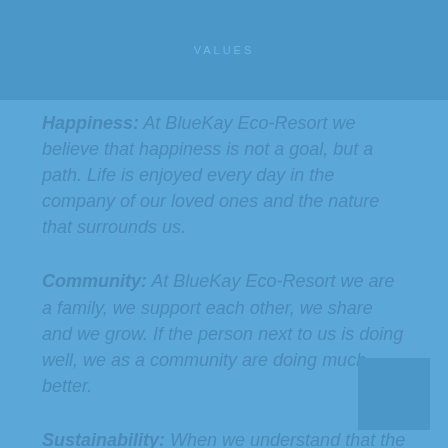VALUES
Happiness: At BlueKay Eco-Resort we believe that happiness is not a goal, but a path. Life is enjoyed every day in the company of our loved ones and the nature that surrounds us.
Community: At BlueKay Eco-Resort we are a family, we support each other, we share and we grow. If the person next to us is doing well, we as a community are doing much better.
Sustainability: When we understand that the most important thing we have is life, we begin to value everything that makes it possible. At BlueKay Eco-Resort we respect, care for and live with nature.